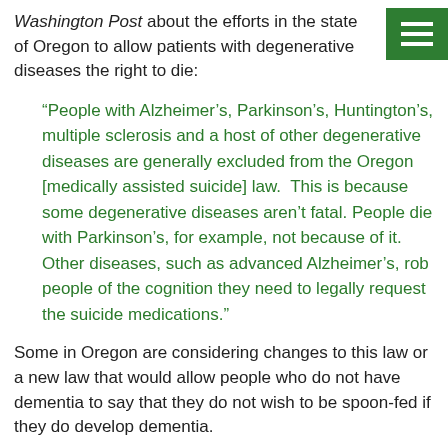Washington Post about the efforts in the state of Oregon to allow patients with degenerative diseases the right to die:
“People with Alzheimer’s, Parkinson’s, Huntington’s, multiple sclerosis and a host of other degenerative diseases are generally excluded from the Oregon [medically assisted suicide] law. This is because some degenerative diseases aren’t fatal. People die with Parkinson’s, for example, not because of it. Other diseases, such as advanced Alzheimer’s, rob people of the cognition they need to legally request the suicide medications.”
Some in Oregon are considering changes to this law or a new law that would allow people who do not have dementia to say that they do not wish to be spoon-fed if they do develop dementia.
Here’s a link to the article: